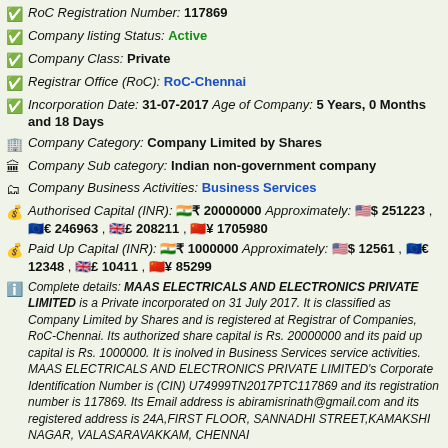RoC Registration Number: 117869
Company listing Status: Active
Company Class: Private
Registrar Office (RoC): RoC-Chennai
Incorporation Date: 31-07-2017 Age of Company: 5 Years, 0 Months and 18 Days
Company Category: Company Limited by Shares
Company Sub category: Indian non-government company
Company Business Activities: Business Services
Authorised Capital (INR): ₹ 20000000 Approximately: $ 251223 , € 246963 , £ 208211 , ¥ 1705980
Paid Up Capital (INR): ₹ 1000000 Approximately: $ 12561 , € 12348 , £ 10411 , ¥ 85299
Complete details: MAAS ELECTRICALS AND ELECTRONICS PRIVATE LIMITED is a Private incorporated on 31 July 2017. It is classified as Company Limited by Shares and is registered at Registrar of Companies, RoC-Chennai. Its authorized share capital is Rs. 20000000 and its paid up capital is Rs. 1000000. It is inolved in Business Services service activities. MAAS ELECTRICALS AND ELECTRONICS PRIVATE LIMITED's Corporate Identification Number is (CIN) U74999TN2017PTC117869 and its registration number is 117869. Its Email address is abiramisrinath@gmail.com and its registered address is 24A,FIRST FLOOR, SANNADHI STREET KAMAKSHI NAGAR, VALASARAVAKKAM, CHENNAI